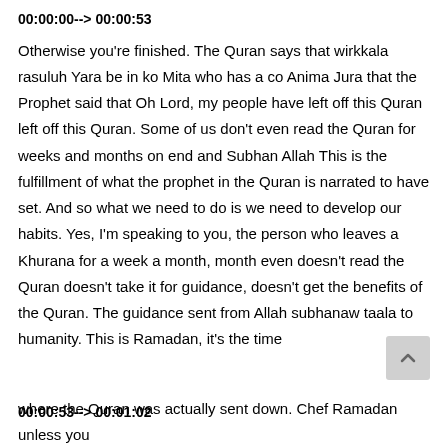00:00:00--> 00:00:53
Otherwise you're finished. The Quran says that wirkkala rasuluh Yara be in ko Mita who has a co Anima Jura that the Prophet said that Oh Lord, my people have left off this Quran left off this Quran. Some of us don't even read the Quran for weeks and months on end and Subhan Allah This is the fulfillment of what the prophet in the Quran is narrated to have set. And so what we need to do is we need to develop our habits. Yes, I'm speaking to you, the person who leaves a Khurana for a week a month, month even doesn't read the Quran doesn't take it for guidance, doesn't get the benefits of the Quran. The guidance sent from Allah subhanaw taala to humanity. This is Ramadan, it's the time
00:00:53--> 00:01:02
where the Quran was actually sent down. Chef Ramadan unless you